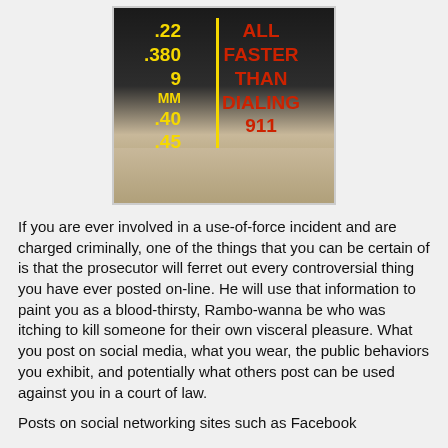[Figure (photo): Photo of the back of a person wearing a dark shirt with text listing calibers (.22, .380, 9MM, .40, .45) in yellow on the left and 'ALL FASTER THAN DIALING 911' in red on the right, divided by a yellow vertical line. The person is seated.]
If you are ever involved in a use-of-force incident and are charged criminally, one of the things that you can be certain of is that the prosecutor will ferret out every controversial thing you have ever posted on-line. He will use that information to paint you as a blood-thirsty, Rambo-wanna be who was itching to kill someone for their own visceral pleasure. What you post on social media, what you wear, the public behaviors you exhibit, and potentially what others post can be used against you in a court of law.
Posts on social networking sites such as Facebook